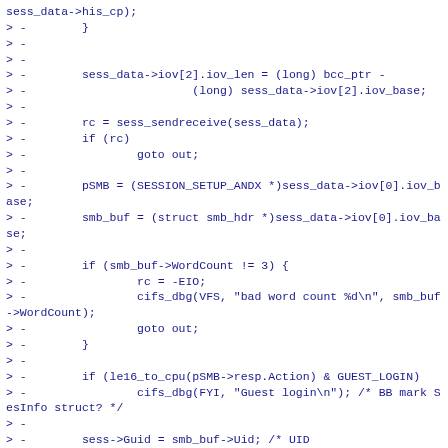sess_data->his_cp);
> -        }
> -
> -
> -        sess_data->iov[2].iov_len = (long) bcc_ptr -
> -                        (long) sess_data->iov[2].iov_base;
> -
> -        rc = sess_sendreceive(sess_data);
> -        if (rc)
> -                goto out;
> -
> -        pSMB = (SESSION_SETUP_ANDX *)sess_data->iov[0].iov_base;
> -        smb_buf = (struct smb_hdr *)sess_data->iov[0].iov_base;
> -
> -        if (smb_buf->WordCount != 3) {
> -                rc = -EIO;
> -                cifs_dbg(VFS, "bad word count %d\n", smb_buf->WordCount);
> -                goto out;
> -        }
> -
> -        if (le16_to_cpu(pSMB->resp.Action) & GUEST_LOGIN)
> -                cifs_dbg(FYI, "Guest login\n"); /* BB mark SesInfo struct? */
> -
> -
> -              sess->Guid = smb_buf->Uid; /* UID